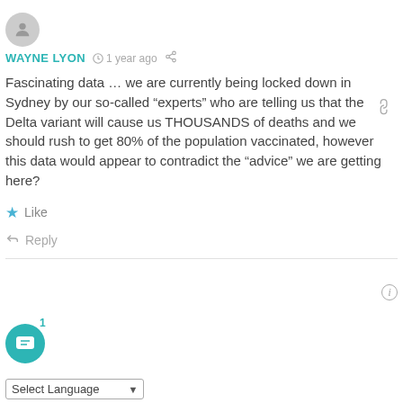[Figure (illustration): Round grey avatar icon with silhouette of a person]
WAYNE LYON  1 year ago
Fascinating data … we are currently being locked down in Sydney by our so-called “experts” who are telling us that the Delta variant will cause us THOUSANDS of deaths and we should rush to get 80% of the population vaccinated, however this data would appear to contradict the “advice” we are getting here?
Like
Reply
[Figure (illustration): Chat bubble icon with badge showing 1, teal circle button]
Select Language